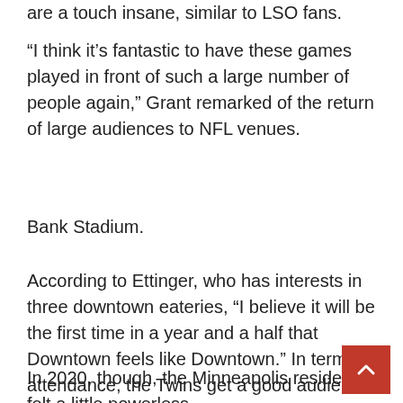are a touch insane, similar to LSO fans.
“I think it’s fantastic to have these games played in front of such a large number of people again,” Grant remarked of the return of large audiences to NFL venues.
Bank Stadium.
According to Ettinger, who has interests in three downtown eateries, “I believe it will be the first time in a year and a half that Downtown feels like Downtown.” In terms of attendance, the Twins get a good audience, although they’re concentrated in a rather small region of downtown.
In 2020, though, the Minneapolis resident felt a little powerless.